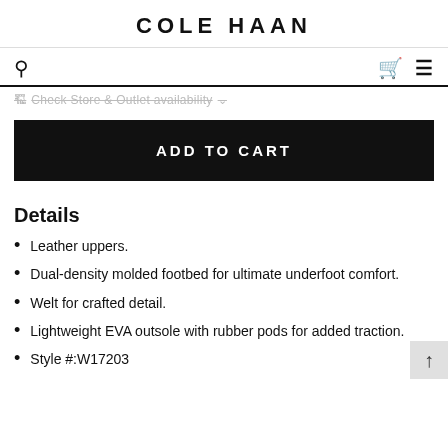COLE HAAN
Check Store & Outlet availability
ADD TO CART
Details
Leather uppers.
Dual-density molded footbed for ultimate underfoot comfort.
Welt for crafted detail.
Lightweight EVA outsole with rubber pods for added traction.
Style #:W17203